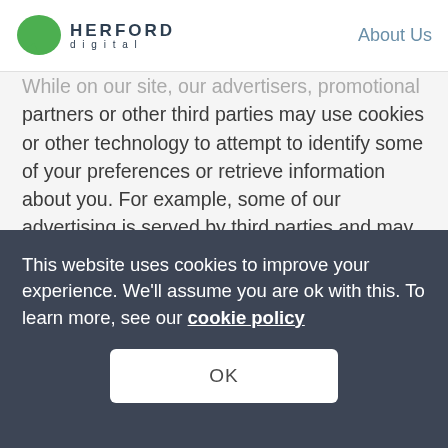[Figure (logo): Herford Digital logo with green speech bubble icon and company name]
About Us
While on our site, our advertisers, promotional partners or other third parties may use cookies or other technology to attempt to identify some of your preferences or retrieve information about you. For example, some of our advertising is served by third parties and may include cookies that enable the advertiser to determine whether you have seen a particular advertisement before. Other features available on our site may offer services operated by third parties and may use cookies or other technology
This website uses cookies to improve your experience. We'll assume you are ok with this. To learn more, see our cookie policy
OK